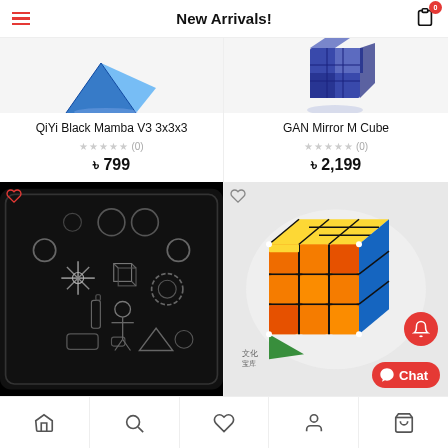New Arrivals!
QiYi Black Mamba V3 3x3x3
★★★★★ (0)
৳ 799
[Figure (photo): Black puzzle cube tool/lubricant mat with schematic diagrams]
GAN Mirror M Cube
★★★★★ (0)
৳ 2,199
[Figure (photo): Colorful 3x3x3 Rubik's cube with yellow, orange, blue, and green faces on white background]
Home | Search | Wishlist | Account | Cart